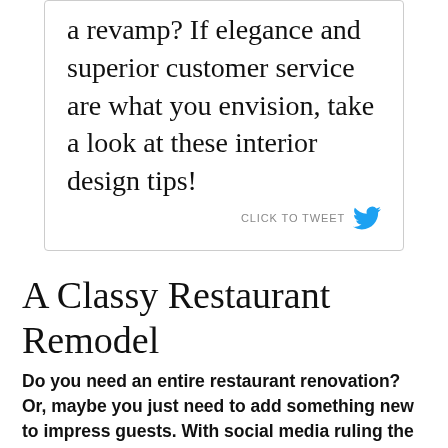a revamp? If elegance and superior customer service are what you envision, take a look at these interior design tips!
CLICK TO TWEET
A Classy Restaurant Remodel
Do you need an entire restaurant renovation? Or, maybe you just need to add something new to impress guests. With social media ruling the Millennial generation, taking a selfie with a beautiful background keeps guests coming